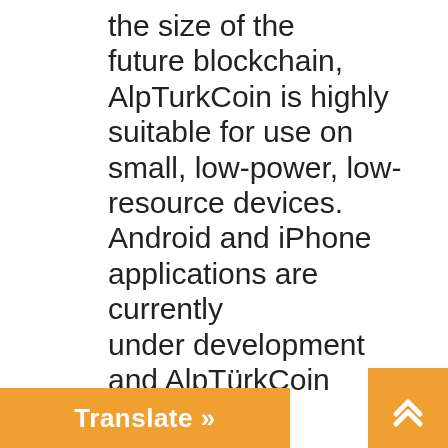the size of the future blockchain, AlpTurkCoin is highly suitable for use on small, low-power, low-resource devices. Android and iPhone applications are currently under development and AlpTürkCoin software has been ported to low-power ARM devices such as RaspberryPi and CubieTruck platforms. The ability to implement AlpTürkCoin on low-power, always-connected devices such as smartphones allows us to envision a scenario where most of the AlpTürkCoin network is supported on mobile devices. The low cost and resource consumption of these devices significantly reduces network costs